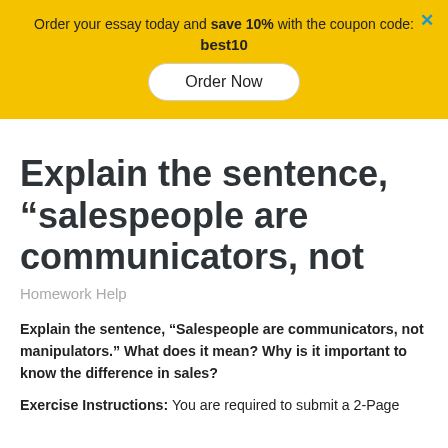Order your essay today and save 10% with the coupon code: best10
Explain the sentence, “salespeople are communicators, not
Homework Help
Explain the sentence, “Salespeople are communicators, not manipulators.” What does it mean? Why is it important to know the difference in sales?
Exercise Instructions:  You are required to submit a 2-Page